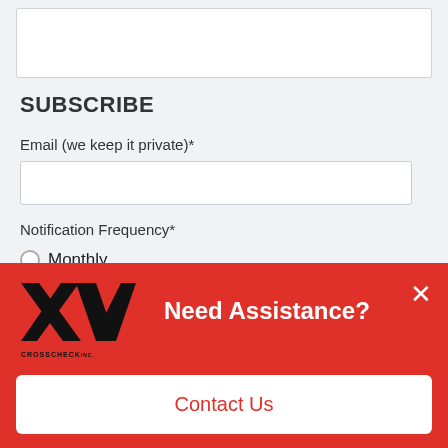[Figure (screenshot): White input box (top of page, continuation from above scroll)]
SUBSCRIBE
Email (we keep it private)*
[Figure (screenshot): Empty email text input field]
Notification Frequency*
Monthly (radio button, unselected)
Instant (radio button, selected)
Weekly (radio button, unselected)
[Figure (logo): CrossCheck logo — stylized XV mark with CrossCheck Inc. text below]
Need Assistance?
Contact Us